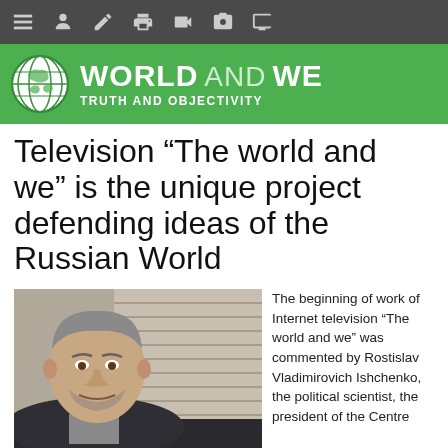[Figure (screenshot): Top navigation toolbar with dark grey background and icon buttons: hamburger menu, person, edit, print, video camera, camera, TV/monitor icons in grey.]
WORLD AND WE — TRUTH AND OBJECTIVITY
Television “The world and we” is the unique project defending ideas of the Russian World
[Figure (photo): Portrait photo of Rostislav Vladimirovich Ishchenko, a middle-aged man with grey hair and beard wearing a dark suit jacket, seated indoors.]
The beginning of work of Internet television “The world and we” was commented by Rostislav Vladimirovich Ishchenko, the political scientist, the president of the Centre